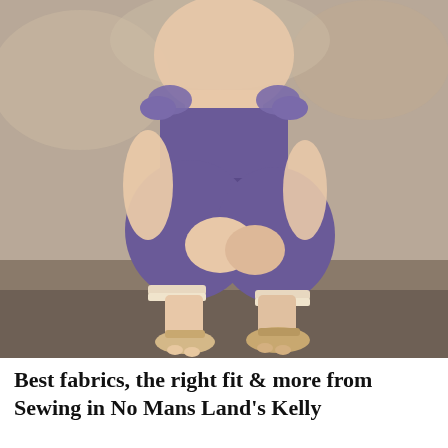[Figure (photo): A toddler girl squatting and wearing a purple ruffled romper with lace trim at the ankles and tan sandals, photographed against a blurred warm-toned background.]
Best fabrics, the right fit & more from Sewing in No Mans Land's Kelly